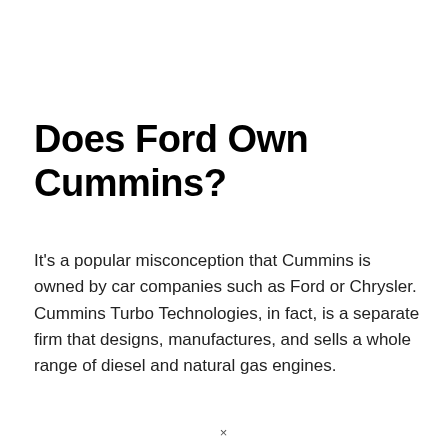Does Ford Own Cummins?
It's a popular misconception that Cummins is owned by car companies such as Ford or Chrysler. Cummins Turbo Technologies, in fact, is a separate firm that designs, manufactures, and sells a whole range of diesel and natural gas engines.
×